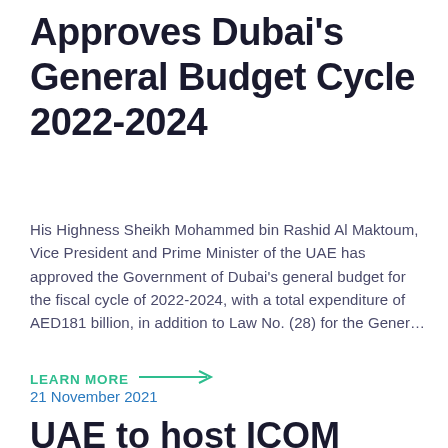Approves Dubai's General Budget Cycle 2022-2024
His Highness Sheikh Mohammed bin Rashid Al Maktoum, Vice President and Prime Minister of the UAE has approved the Government of Dubai's general budget for the fiscal cycle of 2022-2024, with a total expenditure of AED181 billion, in addition to Law No. (28) for the Gener…
LEARN MORE →
21 November 2021
UAE to host ICOM